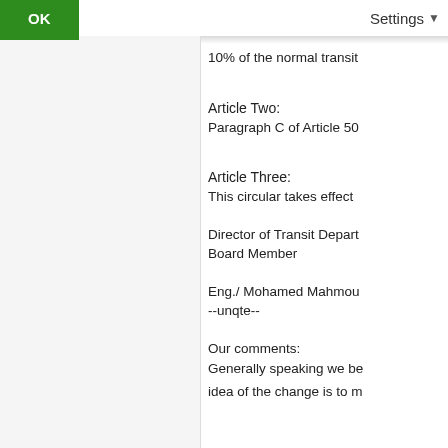OK    Settings
10% of the normal transit
Article Two:
Paragraph C of Article 50
Article Three:
This circular takes effect
Director of Transit Depart
Board Member
Eng./ Mohamed Mahmou
--unqte--
Our comments:
Generally speaking we be
idea of the change is to m